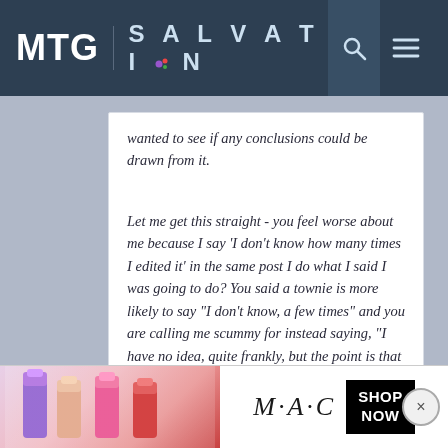MTG SALVATION
wanted to see if any conclusions could be drawn from it.
Let me get this straight - you feel worse about me because I say 'I don't know how many times I edited it' in the same post I do what I said I was going to do? You said a townie is more likely to say "I don't know, a few times" and you are calling me scummy for instead saying, "I have no idea, quite frankly, but the point is that I wanted to take the following..." and then doing what I said I was going to do?
[Figure (screenshot): MAC cosmetics advertisement banner with lipsticks and SHOP NOW button]